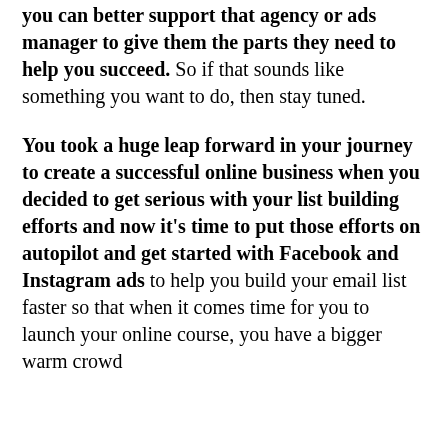you can better support that agency or ads manager to give them the parts they need to help you succeed. So if that sounds like something you want to do, then stay tuned.
You took a huge leap forward in your journey to create a successful online business when you decided to get serious with your list building efforts and now it's time to put those efforts on autopilot and get started with Facebook and Instagram ads to help you build your email list faster so that when it comes time for you to launch your online course, you have a bigger warm crowd